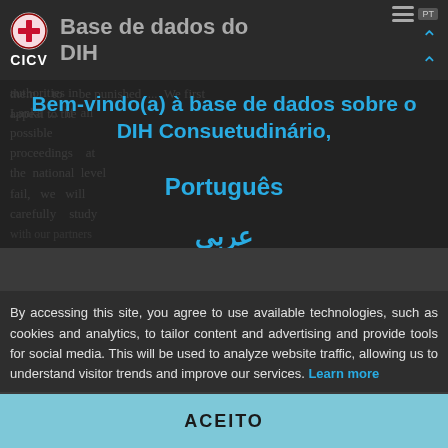Base de dados do DIH — CICV
them to be punished ... We first appeal to the authorities in ... Lanka ... If all possible proceedings at the national level fail, we will carefully study with our partners
Bem-vindo(a) à base de dados sobre o DIH Consuetudinário,
Português
عربي
By accessing this site, you agree to use available technologies, such as cookies and analytics, to tailor content and advertising and provide tools for social media. This will be used to analyze website traffic, allowing us to understand visitor trends and improve our services. Learn more
ACEITO